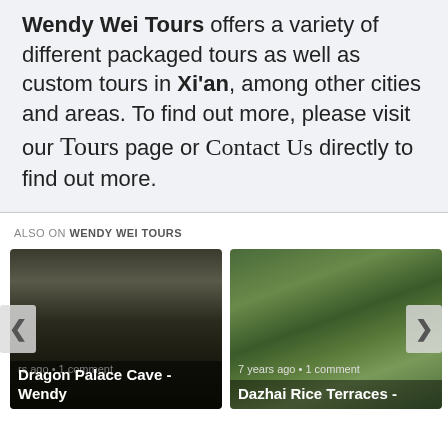Wendy Wei Tours offers a variety of different packaged tours as well as custom tours in Xi'an, among other cities and areas. To find out more, please visit our Tours page or Contact Us directly to find out more.
ALSO ON WENDY WEI TOURS
[Figure (photo): Dark cave interior with stalactites, Dragon Palace Cave article preview thumbnail]
Dragon Palace Cave - Wendy
[Figure (photo): Aerial view of Dazhai rice terraces with traditional buildings, green terraced hillsides]
Dazhai Rice Terraces -